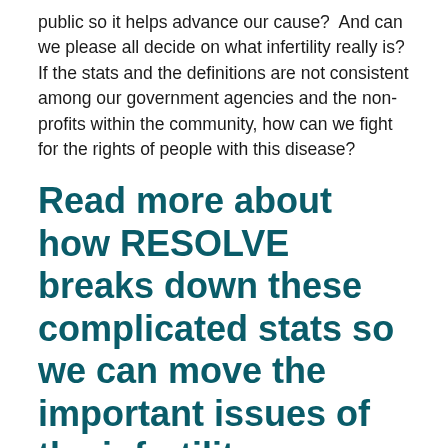public so it helps advance our cause?  And can we please all decide on what infertility really is? If the stats and the definitions are not consistent among our government agencies and the non-profits within the community, how can we fight for the rights of people with this disease?
Read more about how RESOLVE breaks down these complicated stats so we can move the important issues of the infertility community forward.
Source of the data: First and foremost, the source of the data must be credible and verifiable. Ideally the source is a government entity or a source that has been compiling the same data in the same